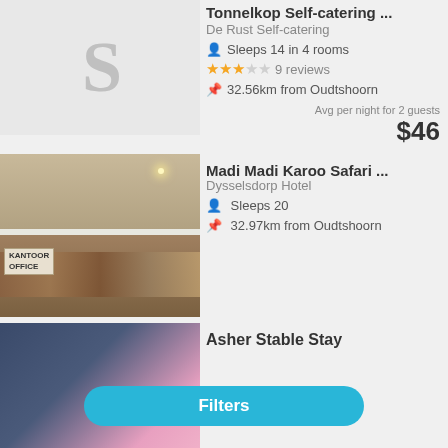Tonnelkop Self-catering ...
De Rust Self-catering
Sleeps 14 in 4 rooms
★★★☆☆ 9 reviews
32.56km from Oudtshoorn
Avg per night for 2 guests $46
Madi Madi Karoo Safari ...
Dysselsdorp Hotel
Sleeps 20
32.97km from Oudtshoorn
Asher Stable Stay
★★★★★ 2 reviews
Filters